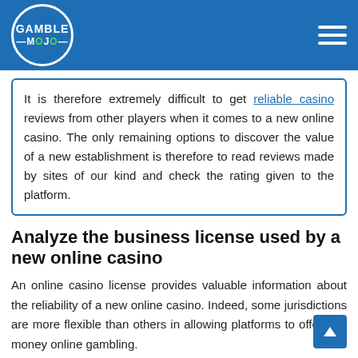GAMBLE MOJO
It is therefore extremely difficult to get reliable casino reviews from other players when it comes to a new online casino. The only remaining options to discover the value of a new establishment is therefore to read reviews made by sites of our kind and check the rating given to the platform.
Analyze the business license used by a new online casino
An online casino license provides valuable information about the reliability of a new online casino. Indeed, some jurisdictions are more flexible than others in allowing platforms to offer real money online gambling.